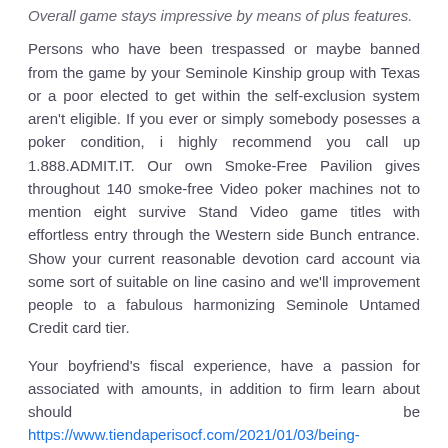Overall game stays impressive by means of plus features.
Persons who have been trespassed or maybe banned from the game by your Seminole Kinship group with Texas or a poor elected to get within the self-exclusion system aren't eligible. If you ever or simply somebody posesses a poker condition, i highly recommend you call up 1.888.ADMIT.IT. Our own Smoke-Free Pavilion gives throughout 140 smoke-free Video poker machines not to mention eight survive Stand Video game titles with effortless entry through the Western side Bunch entrance. Show your current reasonable devotion card account via some sort of suitable on line casino and we'll improvement people to a fabulous harmonizing Seminole Untamed Credit card tier.
Your boyfriend's fiscal experience, have a passion for associated with amounts, in addition to firm learn about should be https://www.tiendaperisocf.com/2021/01/03/being-informed-about-on-the-internet-roulette-rules/ done to be a